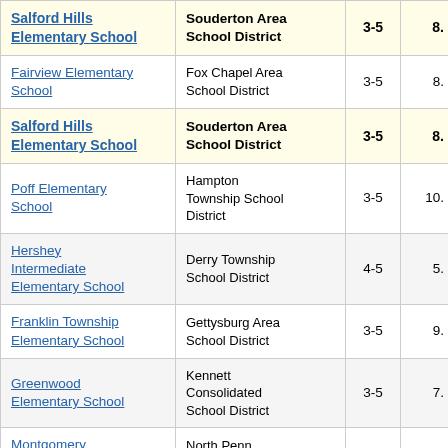| School | District | Grades | Score |
| --- | --- | --- | --- |
| Salford Hills Elementary School | Souderton Area School District | 3-5 | 8. |
| Fairview Elementary School | Fox Chapel Area School District | 3-5 | 8. |
| Salford Hills Elementary School | Souderton Area School District | 3-5 | 8. |
| Poff Elementary School | Hampton Township School District | 3-5 | 10. |
| Hershey Intermediate Elementary School | Derry Township School District | 4-5 | 5. |
| Franklin Township Elementary School | Gettysburg Area School District | 3-5 | 9. |
| Greenwood Elementary School | Kennett Consolidated School District | 3-5 | 7. |
| Montgomery Elementary School | North Penn School District | 3-6 | 5. |